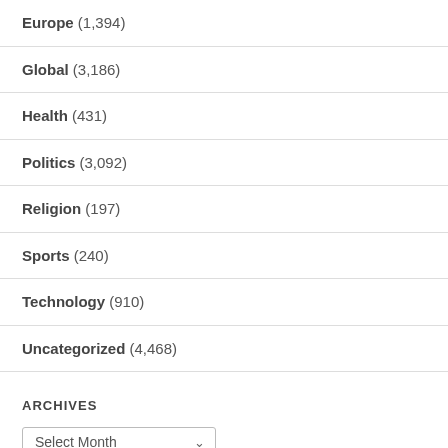Europe (1,394)
Global (3,186)
Health (431)
Politics (3,092)
Religion (197)
Sports (240)
Technology (910)
Uncategorized (4,468)
ARCHIVES
Select Month